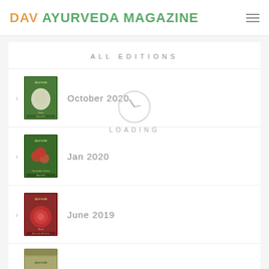DAV AYURVEDA MAGAZINE
ALL EDITIONS
October 2020
Jan 2020
June 2019
Ayurveda (partial)
[Figure (screenshot): Loading clock spinner overlay with text LOADING]